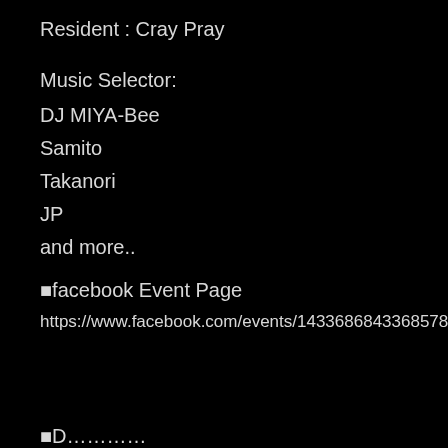Resident : Cray Pray
Music Selector:
DJ MIYA-Bee
Samito
Takanori
JP
and more..
■facebook Event Page
https://www.facebook.com/events/1433686843368578/